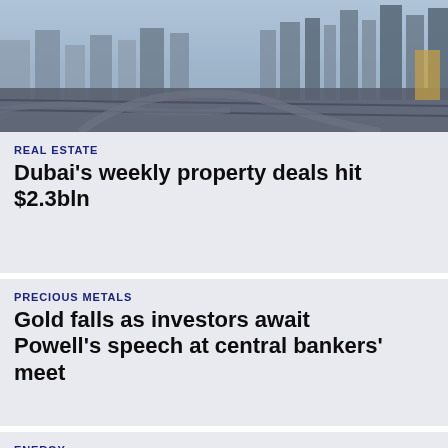[Figure (photo): Aerial cityscape photo of Dubai showing skyscrapers and highway interchanges at dusk]
REAL ESTATE
Dubai's weekly property deals hit $2.3bln
PRECIOUS METALS
Gold falls as investors await Powell's speech at central bankers' meet
ENERGY